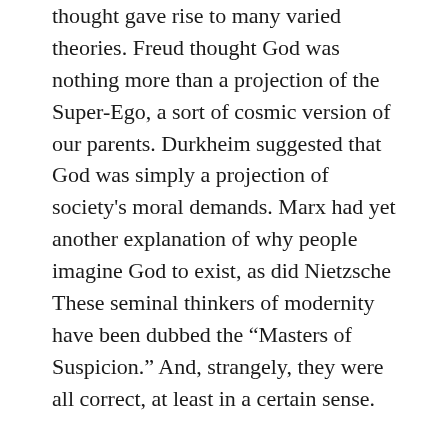thought gave rise to many varied theories. Freud thought God was nothing more than a projection of the Super-Ego, a sort of cosmic version of our parents. Durkheim suggested that God was simply a projection of society's moral demands. Marx had yet another explanation of why people imagine God to exist, as did Nietzsche These seminal thinkers of modernity have been dubbed the “Masters of Suspicion.” And, strangely, they were all correct, at least in a certain sense.
Human beings have a tendency to invent idols. Whether grounded in our fear and need to control, or some other deep inner force, we simply have a way of creating false images of God. These philosophers, despite whatever perversities may have driven their thought, were fairly accurate in analyzing human inventions that are named “God.” Any decent